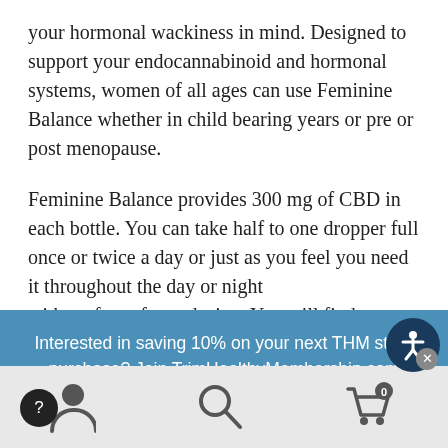your hormonal wackiness in mind. Designed to support your endocannabinoid and hormonal systems, women of all ages can use Feminine Balance whether in child bearing years or pre or post menopause.
Feminine Balance provides 300 mg of CBD in each bottle. You can take half to one dropper full once or twice a day or just as you feel you need it throughout the day or night without fear of overdosing. You will find your sweet s…
Interested in saving 10% on your next THM store purchase? Join TrimHealthyMembership.com TODAY. Current members receive a 10% discount on eligible purchases.
Already a member? Log In to enjoy your discount now.